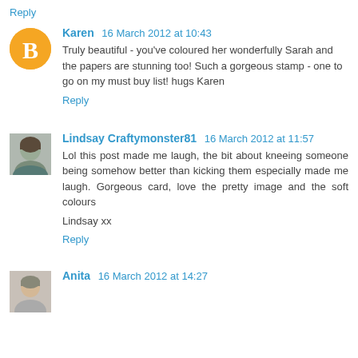Reply
Karen  16 March 2012 at 10:43
Truly beautiful - you've coloured her wonderfully Sarah and the papers are stunning too! Such a gorgeous stamp - one to go on my must buy list! hugs Karen
Reply
Lindsay Craftymonster81  16 March 2012 at 11:57
Lol this post made me laugh, the bit about kneeing someone being somehow better than kicking them especially made me laugh. Gorgeous card, love the pretty image and the soft colours
Lindsay xx
Reply
Anita  16 March 2012 at 14:27